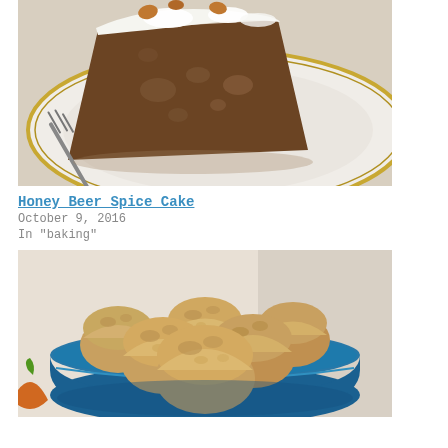[Figure (photo): A slice of honey beer spice cake with white frosting and nuts on top, served on a decorative plate with gold rim, with a fork lifting a piece]
Honey Beer Spice Cake
October 9, 2016
In "baking"
[Figure (photo): Mini muffins or cookie-like baked goods piled in a blue ceramic bowl, golden-brown in color, with what appears to be a carrot or other vegetable partially visible in the lower left]